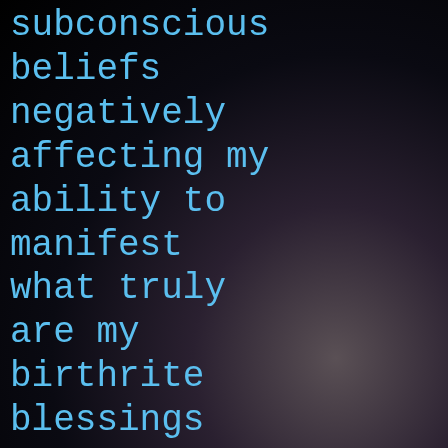subconscious beliefs negatively affecting my ability to manifest what truly are my birthrite blessings are no longer able to remain active in my life. I am now owning my right to having and maintaining money, success, abundance,